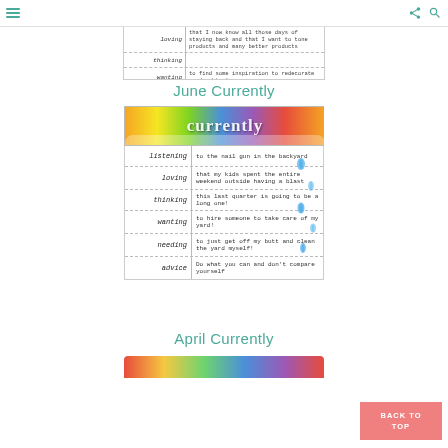Navigation header with hamburger menu and share/search icons
[Figure (other): Partial cropped view of a 'Currently' journal template showing loving, thinking, wanting, needing, 3 Vacay rows with handwritten text]
June Currently
[Figure (other): April 'Currently' card with colorful 'currently' header and rows: listening - to the nail gun in the backyard; loving - that my kids spent the entire weekend outside having a blast; thinking - this last quarter is going to be a long one!; wanting - to hire someone to take care of my yard!; needing - to just get off my butt and clean the yard myself!; advice - do what you can and don't compare yourself]
April Currently
[Figure (other): Partial bottom of another Currently card showing colorful wavy border]
BACK TO TOP